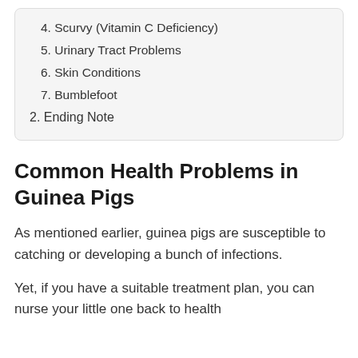4. Scurvy (Vitamin C Deficiency)
5. Urinary Tract Problems
6. Skin Conditions
7. Bumblefoot
2. Ending Note
Common Health Problems in Guinea Pigs
As mentioned earlier, guinea pigs are susceptible to catching or developing a bunch of infections.
Yet, if you have a suitable treatment plan, you can nurse your little one back to health